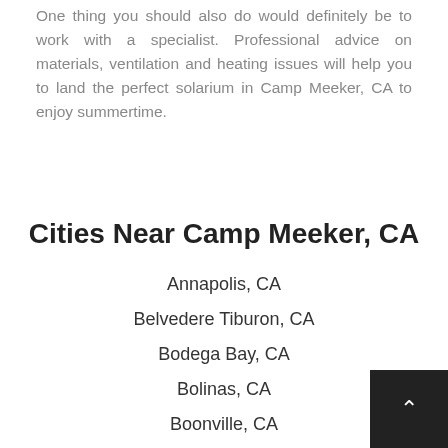One thing you should also do would definitely be to work with a specialist. Professional advice on materials, ventilation and heating issues will help you to land the perfect solarium in Camp Meeker, CA to enjoy summertime.
Cities Near Camp Meeker, CA
Annapolis, CA
Belvedere Tiburon, CA
Bodega Bay, CA
Bolinas, CA
Boonville, CA
Boyes Hot Springs, CA
Calistoga, CA
Cazadero, CA